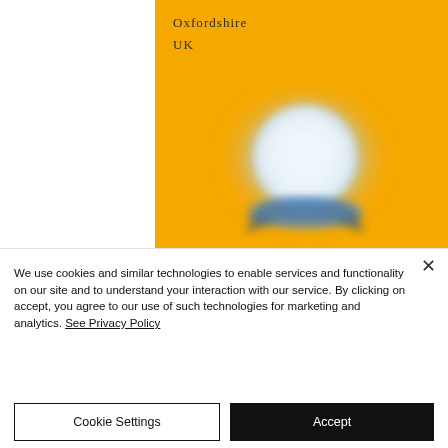[Figure (illustration): Yellow background image card showing location text 'Oxfordshire UK' at top left, with a blurred blue and white badge/seal emblem centered on the yellow background]
We use cookies and similar technologies to enable services and functionality on our site and to understand your interaction with our service. By clicking on accept, you agree to our use of such technologies for marketing and analytics. See Privacy Policy
Cookie Settings
Accept